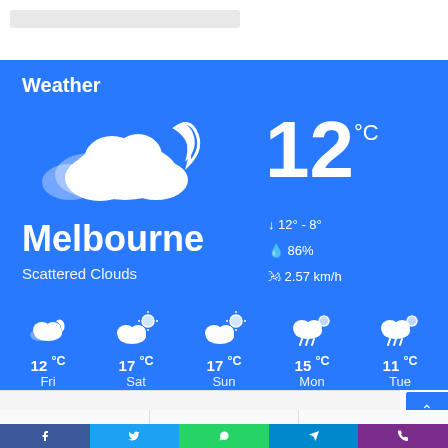Weather
[Figure (infographic): Weather widget showing Melbourne, Scattered Clouds, 12°C, with cloud and moon icon, stats: 12°-8°, 86%, 2.57 km/h, and 5-day forecast: Fri 12°C, Sat 17°C, Sun 17°C, Mon 15°C, Tue 11°C]
Melbourne
Scattered Clouds
12 °C
12° - 8°
86%
2.57 km/h
12 °C Fri
17 °C Sat
17 °C Sun
15 °C Mon
11 °C Tue